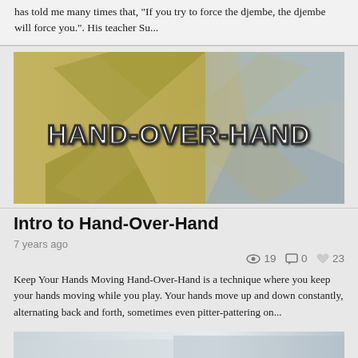has told me many times that, "If you try to force the djembe, the djembe will force you.". His teacher Su...
[Figure (illustration): Thumbnail image for 'Hand-Over-Hand' article showing an X-shaped graphic on a textured sandy/yellow background with the text 'HAND-OVER-HAND' in bold white outlined letters across the center.]
Intro to Hand-Over-Hand
7 years ago
19  0  23
Keep Your Hands Moving Hand-Over-Hand is a technique where you keep your hands moving while you play. Your hands move up and down constantly, alternating back and forth, sometimes even pitter-pattering on...
[Figure (photo): Partial thumbnail image visible at the bottom of the page, showing a light blue/white snowy or cloudy landscape scene.]